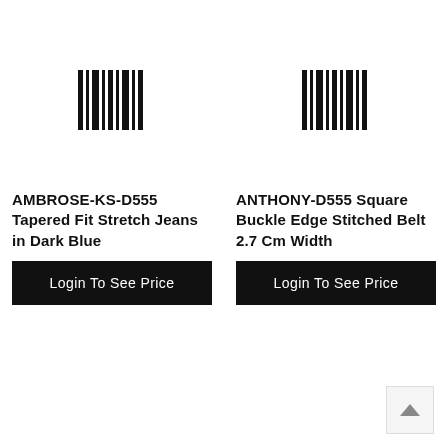[Figure (other): Barcode / product image placeholder for AMBROSE-KS-D555]
[Figure (other): Barcode / product image placeholder for ANTHONY-D555]
AMBROSE-KS-D555 Tapered Fit Stretch Jeans in Dark Blue
Login To See Price
ANTHONY-D555 Square Buckle Edge Stitched Belt 2.7 Cm Width
Login To See Price